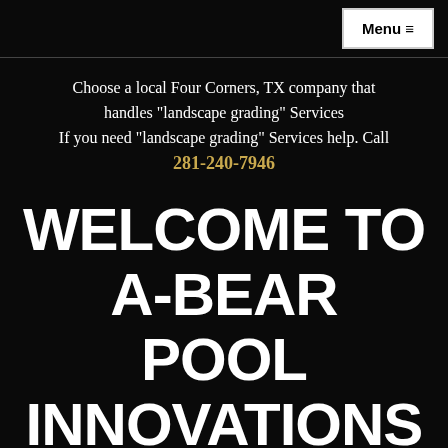Menu ≡
Choose a local Four Corners, TX company that handles "landscape grading" Services
If you need "landscape grading" Services help. Call
281-240-7946
WELCOME TO A-BEAR POOL INNOVATIONS
If you are in the market for top quality patio cover at the best price, then you have come to the right place. We pride ourselves on product innovation and customer satisfaction. Our patio cover will be a fine addition to your home or business. Let us exceed your